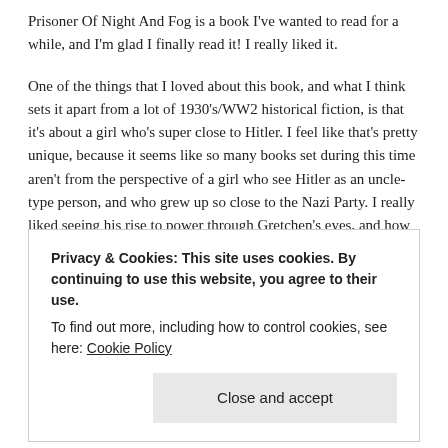Prisoner Of Night And Fog is a book I've wanted to read for a while, and I'm glad I finally read it!  I really liked it.
One of the things that I loved about this book, and what I think sets it apart from a lot of 1930's/WW2 historical fiction, is that it's about a girl who's super close to Hitler.  I feel like that's pretty unique, because it seems like so many books set during this time aren't from the perspective of a girl who see Hitler as an uncle-type person, and who grew up so close to the Nazi Party.  I really liked seeing his rise to power through Gretchen's eyes, and how she saw him and what he stood for change so much over the course of the book. Especially as she learned what really happened the day her father died and
Privacy & Cookies: This site uses cookies. By continuing to use this website, you agree to their use.
To find out more, including how to control cookies, see here: Cookie Policy
Close and accept